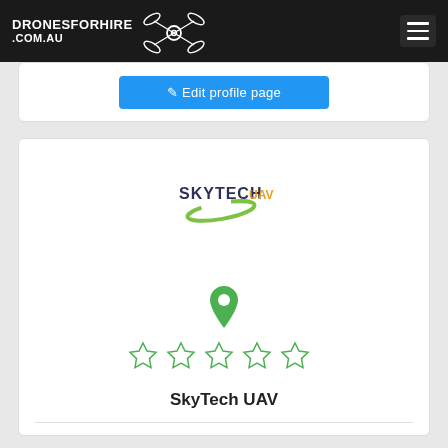DRONESFORHIRE .COM.AU
[Figure (screenshot): Blue button labeled 'Edit profile page' inside a white card]
[Figure (logo): SkyTech UAV logo with green swoosh and text]
[Figure (illustration): Green location pin icon above 5 empty green star rating icons]
SkyTech UAV
Contact name:   Kyle
Location/s:   RURAL NSW 2159